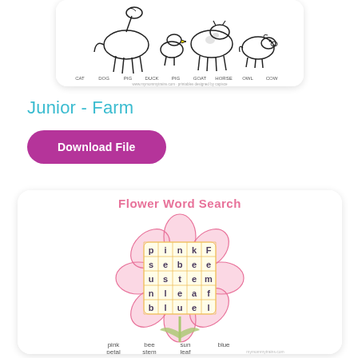[Figure (illustration): Partial view of a farm animals coloring/labeling sheet showing cartoon animals (horse, duck, cow, pig, dog, etc.) with labels below, in a white card with rounded corners and shadow.]
Junior - Farm
Download File
[Figure (illustration): Flower Word Search activity sheet. A large pink flower shape contains a 5x5 letter grid. Title reads 'Flower Word Search' in pink. Letters in the grid spell out words: pink, bee, sun, blue, petal, stem, leaf. Word list at bottom: pink, bee, sun, blue, petal, stem, leaf. Website watermark at bottom right.]